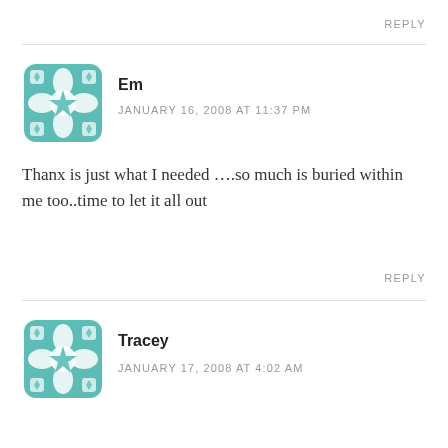REPLY
[Figure (illustration): Teal geometric avatar icon for user Em]
Em
JANUARY 16, 2008 AT 11:37 PM
Thanx is just what I needed ….so much is buried within me too..time to let it all out
REPLY
[Figure (illustration): Teal geometric avatar icon for user Tracey]
Tracey
JANUARY 17, 2008 AT 4:02 AM